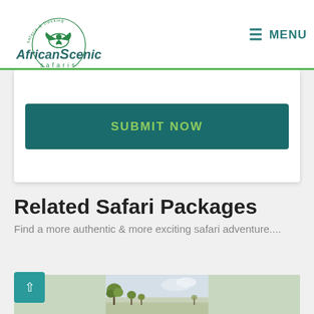[Figure (logo): African Scenic Safaris logo with bird and circular text reading 'safaris & trekking']
MENU
[Figure (screenshot): Submit Now button - dark teal background with green text]
Related Safari Packages
Find a more authentic & more exciting safari adventure....
[Figure (photo): African savanna landscape with acacia trees against a light sky]